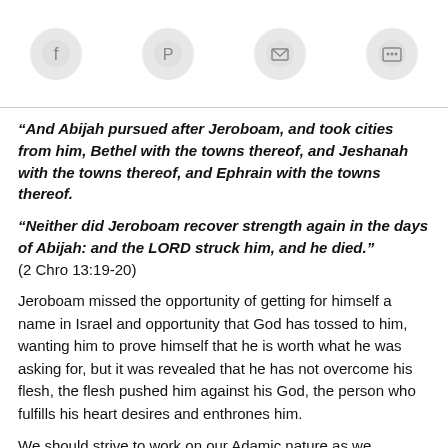[Social sharing icons: Facebook, Pinterest, Email, Message]
“And Abijah pursued after Jeroboam, and took cities from him, Bethel with the towns thereof, and Jeshanah with the towns thereof, and Ephrain with the towns thereof.
“Neither did Jeroboam recover strength again in the days of Abijah: and the LORD struck him, and he died.” (2 Chro 13:19-20)
Jeroboam missed the opportunity of getting for himself a name in Israel and opportunity that God has tossed to him, wanting him to prove himself that he is worth what he was asking for, but it was revealed that he has not overcome his flesh, the flesh pushed him against his God, the person who fulfills his heart desires and enthrones him.
We should strive to work on our Adamic nature as we continue in the race to the Kingdom of heaven, so that we